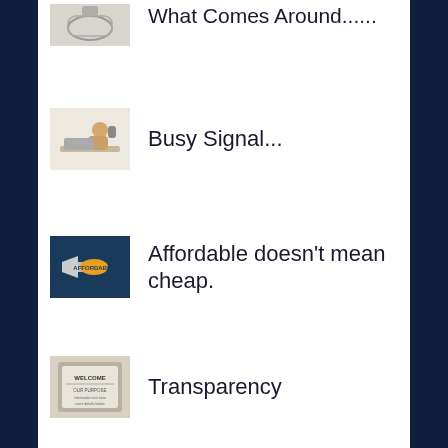[Figure (illustration): Partial thumbnail of a watch/bracelet image at the top of page]
What Comes Around......
[Figure (photo): Person sitting at desk on phone, looking stressed]
Busy Signal...
[Figure (illustration): Dark blue background with megaphone and text 'AFFORDABLE']
Affordable doesn't mean cheap.
[Figure (photo): Welcome sign/plaque with text]
Transparency